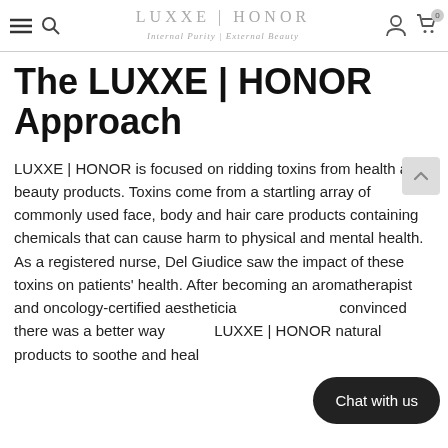LUXXE | HONOR — Internal Purity | External Beauty
The LUXXE | HONOR Approach
LUXXE | HONOR is focused on ridding toxins from health and beauty products. Toxins come from a startling array of commonly used face, body and hair care products containing chemicals that can cause harm to physical and mental health. As a registered nurse, Del Giudice saw the impact of these toxins on patients' health. After becoming an aromatherapist and oncology-certified aesthetician, she became convinced there was a better way to LUXXE | HONOR natural products to soothe and heal